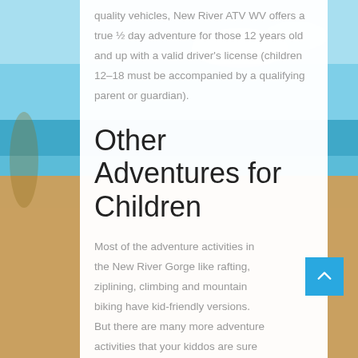quality vehicles, New River ATV WV offers a true ½ day adventure for those 12 years old and up with a valid driver's license (children 12–18 must be accompanied by a qualifying parent or guardian).
Other Adventures for Children
Most of the adventure activities in the New River Gorge like rafting, ziplining, climbing and mountain biking have kid-friendly versions. But there are many more adventure activities that your kiddos are sure to enjoy.
[Figure (other): Beach background image with sand and ocean/sky visible behind the white content panel]